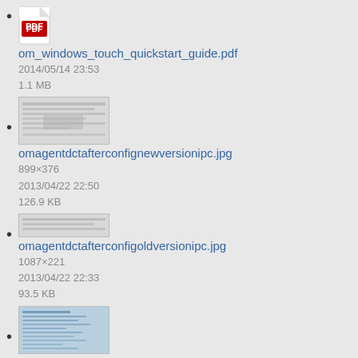om_windows_touch_quickstart_guide.pdf
2014/05/14 23:53
1.1 MB
omagentdctafterconfignewversionipc.jpg
899×376
2013/04/22 22:50
126.9 KB
omagentdctafterconfigoldversionipc.jpg
1087×221
2013/04/22 22:33
93.5 KB
omagentdctconfig.jpg
1087×408